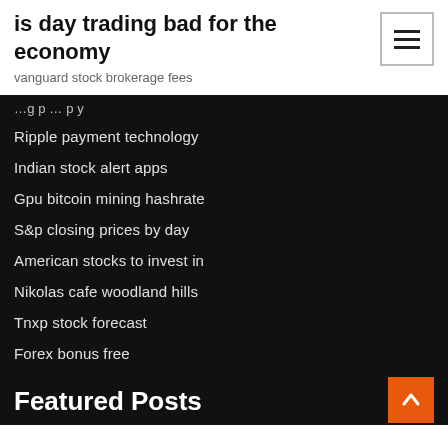is day trading bad for the economy
vanguard stock brokerage fees
Ripple payment technology
Indian stock alert apps
Gpu bitcoin mining hashrate
S&p closing prices by day
American stocks to invest in
Nikolas cafe woodland hills
Tnxp stock forecast
Forex bonus free
Featured Posts